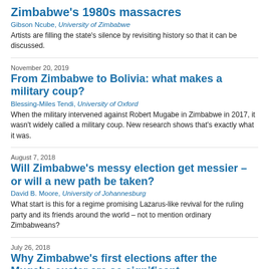Zimbabwe's 1980s massacres
Gibson Ncube, University of Zimbabwe
Artists are filling the state's silence by revisiting history so that it can be discussed.
November 20, 2019
From Zimbabwe to Bolivia: what makes a military coup?
Blessing-Miles Tendi, University of Oxford
When the military intervened against Robert Mugabe in Zimbabwe in 2017, it wasn't widely called a military coup. New research shows that's exactly what it was.
August 7, 2018
Will Zimbabwe's messy election get messier – or will a new path be taken?
David B. Moore, University of Johannesburg
What start is this for a regime promising Lazarus-like revival for the ruling party and its friends around the world – not to mention ordinary Zimbabweans?
July 26, 2018
Why Zimbabwe's first elections after the Mugabe ouster are so significant